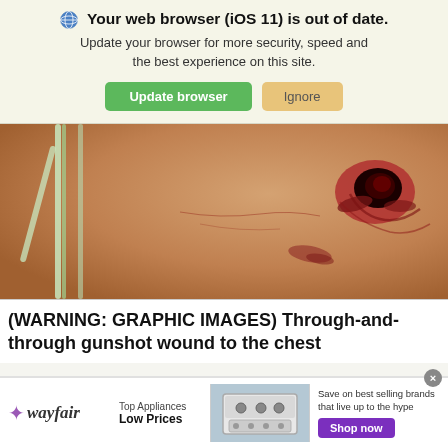Your web browser (iOS 11) is out of date. Update your browser for more security, speed and the best experience on this site. Update browser | Ignore
[Figure (photo): Medical photograph showing a through-and-through gunshot wound to the chest with visible wound entry/exit points and bruising on skin]
(WARNING: GRAPHIC IMAGES) Through-and-through gunshot wound to the chest
[Figure (infographic): Wayfair advertisement: Top Appliances Low Prices. Save on best selling brands that live up to the hype. Shop now.]